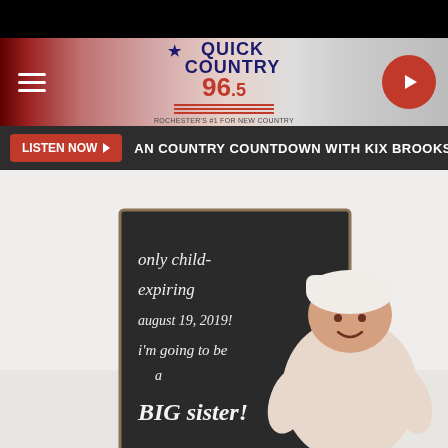[Figure (screenshot): Quick Country 96.5 radio station website header with hamburger menu, logo, and play button]
LISTEN NOW ▶  AN COUNTRY COUNTDOWN WITH KIX BROOKS  AM
[Figure (photo): Instagram post showing a baby in a white snowsuit sitting next to a chalkboard sign reading: only child expiring august 19, 2019! i'm going to be a BIG sister!]
View more on Instagram
91,885 likes
hayley_hubbard